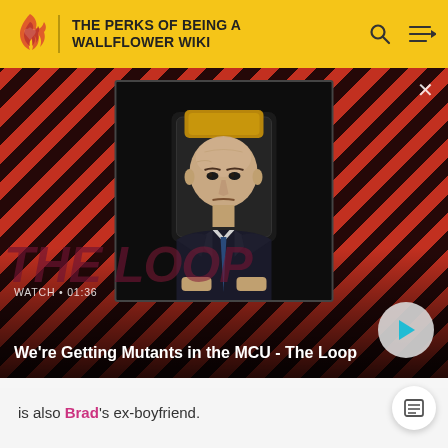THE PERKS OF BEING A WALLFLOWER WIKI
[Figure (screenshot): Video thumbnail showing a bald man in a suit seated in a chair, with a red and dark diagonal striped background and 'THE LOOP' watermark text. Shows WATCH • 01:36 timer.]
We're Getting Mutants in the MCU - The Loop
is also Brad's ex-boyfriend.